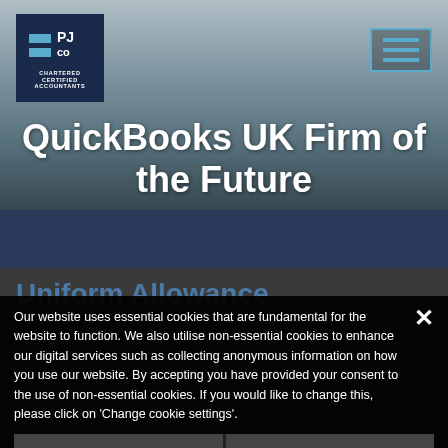[Figure (logo): PJ CO Chartered Certified Accountants logo — dark navy square with two cyan horizontal bars and text 'PJ CO' and 'CHARTERED CERTIFIED ACCOUNTANTS']
QuickBooks UK Firm of the Future
Uniform Allowance
Our website uses essential cookies that are fundamental for the website to function. We also utilise non-essential cookies to enhance our digital services such as collecting anonymous information on how you use our website. By accepting you have provided your consent to the use of non-essential cookies. If you would like to change this, please click on 'Change cookie settings'.
Accept & Close
Change cookie settings